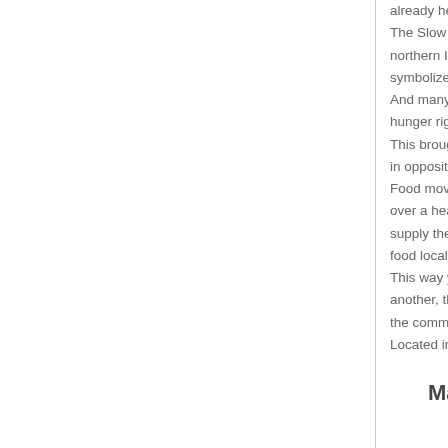already heard abou
The Slow Food mo
northern Italy.
symbolized an Age
And many people m
hunger right away.
This brought discor
in opposition to fast
Food movement, m
over a healthier foo
supply the ingredie
food locally, from pe
This way you will n
another, the Slow F
the community and
Located in Manazu
Manazuru